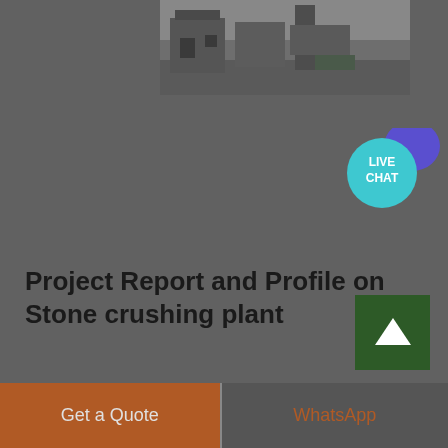[Figure (photo): Partial view of a stone crushing plant facility, showing structures and equipment, grayscale.]
[Figure (other): Live Chat button with teal circular bubble labeled LIVE CHAT and a purple chat bubble icon.]
Project Report and Profile on Stone crushing plant
Crushed stone is segregated into various sizes like 35mm, 20mm, 12mm etc for different uses. Crushed stone aggregates are used for construction of roads, bridges, housing, industril building
[Figure (other): Green scroll-to-top button with upward arrow icon.]
Get a Quote
WhatsApp